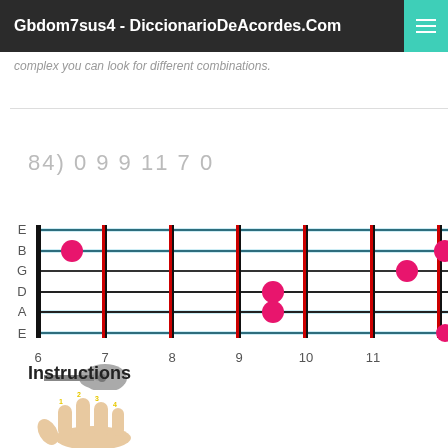Gbdom7sus4 - DiccionarioDeAcordes.Com
complex you can look for different combinations.
84) 0 9 9 11 7 0
[Figure (other): Guitar fretboard diagram showing chord positions for Gbdom7sus4. String labels E B G D A E on left. Fret numbers 6 7 8 9 10 11 shown below. Pink dots at: fret 7 on B string, frets 9 on D and A strings, fret 11 on G string, and partial dots at edges. Blue highlighted strings: E (high), B, A, E (low). Guitar icon below fret 6.]
Instructions
[Figure (illustration): Hand diagram showing finger numbering 1 2 3 4 for guitar chord instructions.]